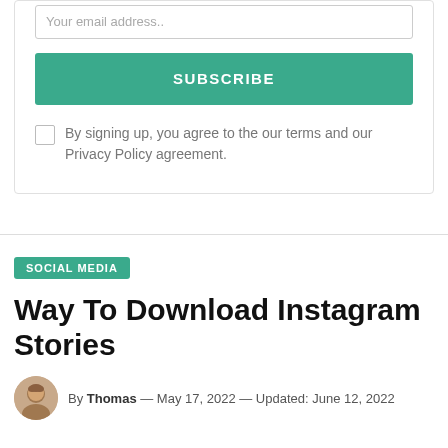Your email address..
SUBSCRIBE
By signing up, you agree to the our terms and our Privacy Policy agreement.
SOCIAL MEDIA
Way To Download Instagram Stories
By Thomas — May 17, 2022 — Updated: June 12, 2022